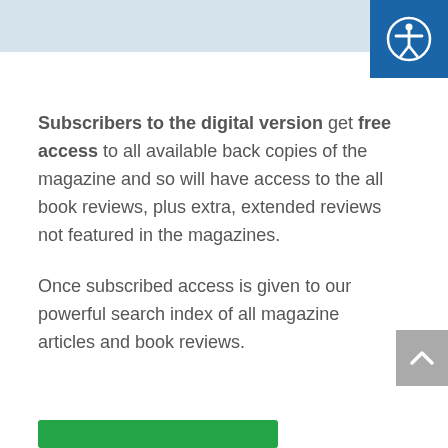[Figure (illustration): Accessibility icon: person with arms outstretched in a circle, white on blue background]
Subscribers to the digital version get free access to all available back copies of the magazine and so will have access to the all book reviews, plus extra, extended reviews not featured in the magazines.
Once subscribed access is given to our powerful search index of all magazine articles and book reviews.
[Figure (illustration): Green button (subscribe/action button)]